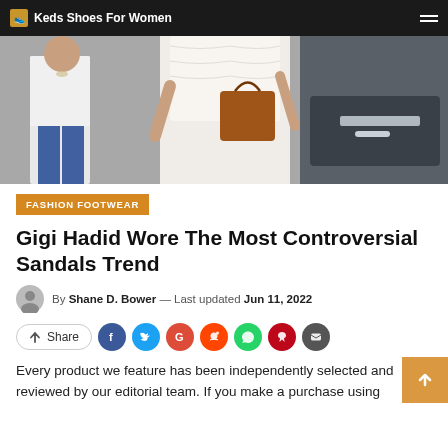Keds Shoes For Women
[Figure (photo): Photo of two people outdoors near a car; a woman in a white lace outfit carrying a brown handbag, and a man in a white t-shirt and blue shorts]
FASHION FOOTWEAR
Gigi Hadid Wore The Most Controversial Sandals Trend
By Shane D. Bower — Last updated Jun 11, 2022
Share
Every product we feature has been independently selected and reviewed by our editorial team. If you make a purchase using